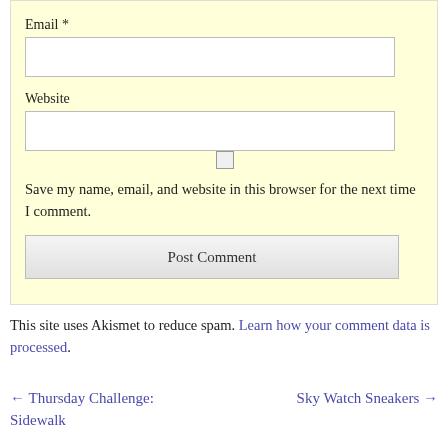Email *
Website
Save my name, email, and website in this browser for the next time I comment.
Post Comment
This site uses Akismet to reduce spam. Learn how your comment data is processed.
← Thursday Challenge: Sidewalk
Sky Watch Sneakers →